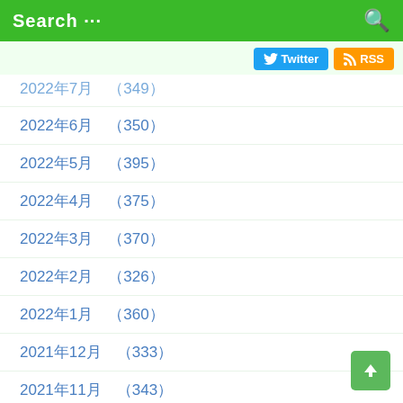Search ···
2022年7月　(349)
2022年6月　(350)
2022年5月　(395)
2022年4月　(375)
2022年3月　(370)
2022年2月　(326)
2022年1月　(360)
2021年12月　(333)
2021年11月　(343)
2021年10月　(419)
2021年9月　(347)
2021年8月　(368)
2021年7月　(355)